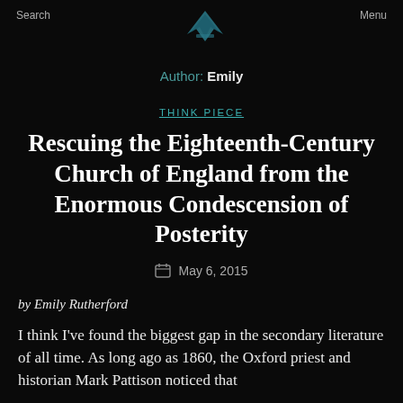Search  Menu
Author: Emily
THINK PIECE
Rescuing the Eighteenth-Century Church of England from the Enormous Condescension of Posterity
May 6, 2015
by Emily Rutherford
I think I've found the biggest gap in the secondary literature of all time. As long ago as 1860, the Oxford priest and historian Mark Pattison noticed that